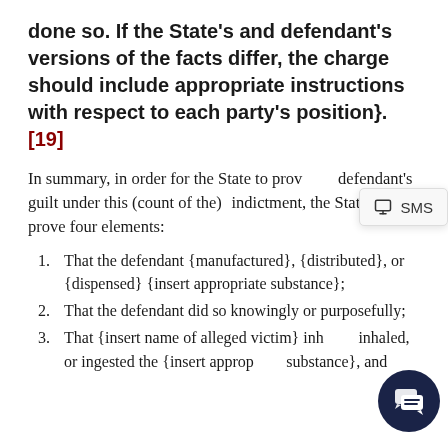done so. If the State's and defendant's versions of the facts differ, the charge should include appropriate instructions with respect to each party's position}.[19]
In summary, in order for the State to prove defendant's guilt under this (count of the) indictment, the State must prove four elements:
1. That the defendant {manufactured}, {distributed}, or {dispensed} {insert appropriate substance};
2. That the defendant did so knowingly or purposefully;
3. That {insert name of alleged victim} inhaled, or ingested the {insert appropriate substance}, and